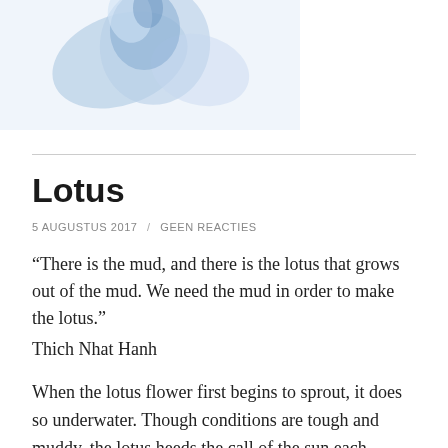[Figure (illustration): Partial view of a blue lotus flower illustration/photo on white background, cropped at top of page]
Lotus
5 AUGUSTUS 2017  /  GEEN REACTIES
“There is the mud, and there is the lotus that grows out of the mud. We need the mud in order to make the lotus.”
Thich Nhat Hanh
When the lotus flower first begins to sprout, it does so underwater. Though conditions are tough and muddy, the lotus heeds the call of the sun each morning, breaks the surface of the water and blooms untouched by the mud; each petal remains clean and pure. Closing at